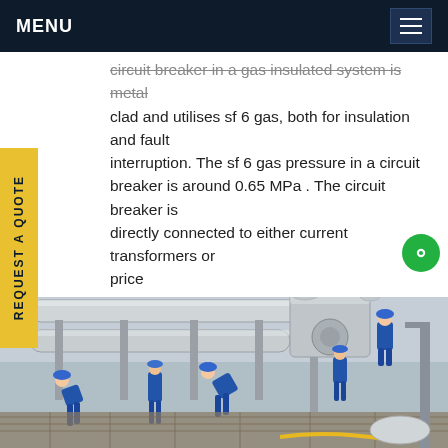MENU
circuit breaker in a gas insulated system is metal clad and utilises sf 6 gas, both for insulation and fault interruption. The sf 6 gas pressure in a circuit breaker is around 0.65 MPa . The circuit breaker is directly connected to either current transformers or price
[Figure (photo): Workers in blue overalls and hard hats working on large industrial gas-insulated switchgear equipment at a substation. Multiple workers visible, heavy grey cylindrical pipes and equipment visible, outdoor industrial setting.]